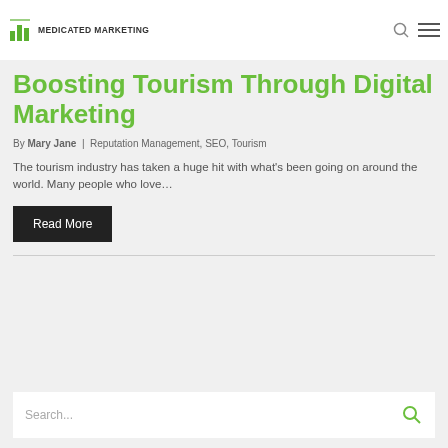MEDICATED MARKETING
[Figure (photo): Top portion of a webpage hero image showing a dark road/pavement surface with yellow and gold geometric shapes]
Boosting Tourism Through Digital Marketing
By Mary Jane  |  Reputation Management, SEO, Tourism
The tourism industry has taken a huge hit with what's been going on around the world. Many people who love...
Read More
Search...